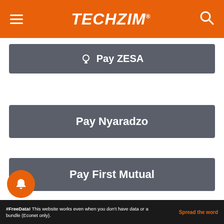TECHZiM
💡 Pay ZESA
Pay Nyaradzo
Pay First Mutual
Pay Telone
#FreeData! This website works even when you don't have data or a bundle (Econet only).  Spread the word